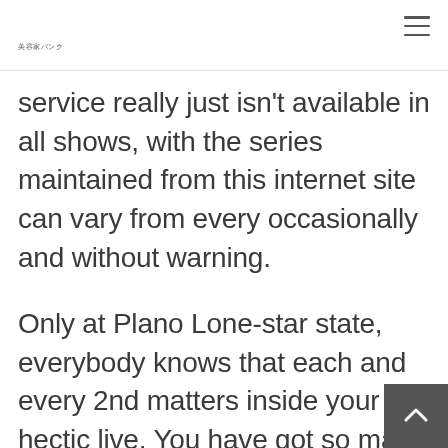美容家バンク
service really just isn't available in all shows, with the series maintained from this internet site can vary from every occasionally and without warning.
Only at Plano Lone-star state, everybody knows that each and every 2nd matters inside your hectic live. You have got so many duties, very getting a Texas cash advance loans should be easy and quick. In order to let you we made the application skills as basic and easy as